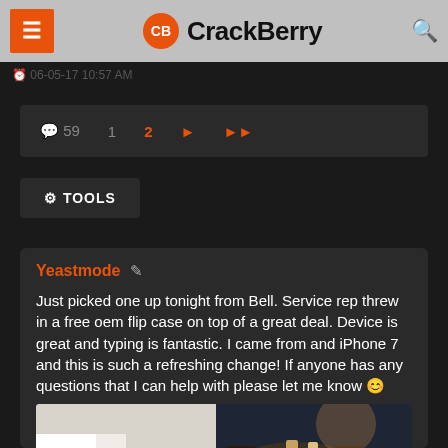CrackBerry
06-05-17 10:57 AM
59  1  2  ▶  ▶▶
⚙ TOOLS
Yeastmode
Just picked one up tonight from Bell. Service rep threw in a free oem flip case on top of a great deal. Device is great and typing is fantastic. I came from and iPhone 7 and this is such a refreshing change! If anyone has any questions that I can help with please let me know 🙂
[Figure (photo): Photo of a table in a dimly lit restaurant/bar setting with chairs and drinks]